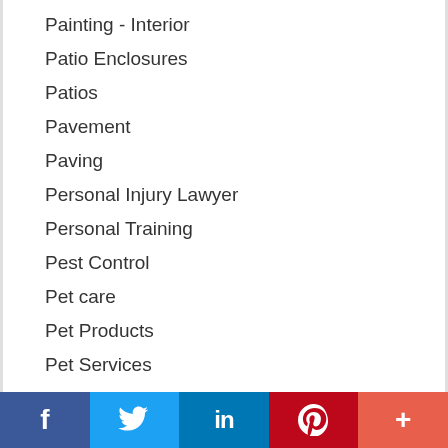Painting - Interior
Patio Enclosures
Patios
Pavement
Paving
Personal Injury Lawyer
Personal Training
Pest Control
Pet care
Pet Products
Pet Services
Pets
Pharmacies
Photographers